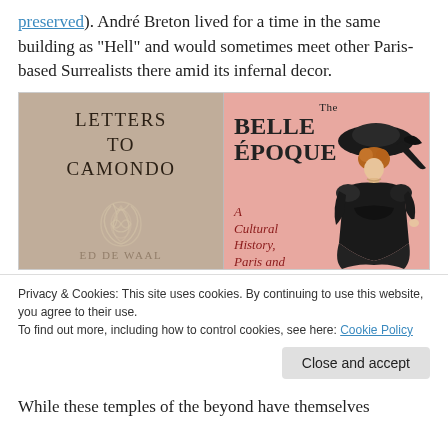preserved). André Breton lived for a time in the same building as "Hell" and would sometimes meet other Paris-based Surrealists there amid its infernal decor.
[Figure (photo): Two book covers side by side. Left: 'Letters to Camondo' with a tan/beige cover and decorative monogram. Right: 'The Belle Époque: A Cultural History, Paris and Beyond' with a pink cover featuring an illustration of a woman in a black Victorian dress and hat.]
Privacy & Cookies: This site uses cookies. By continuing to use this website, you agree to their use.
To find out more, including how to control cookies, see here: Cookie Policy
While these temples of the beyond have themselves